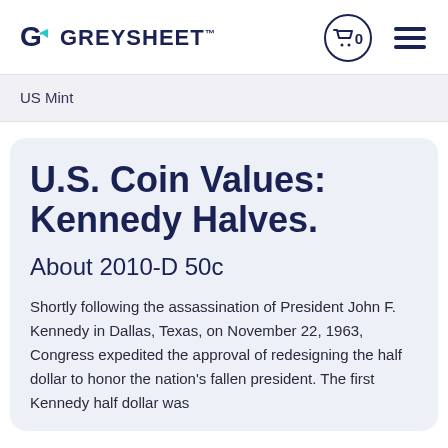GREYSHEET
US Mint
U.S. Coin Values: Kennedy Halves.
About 2010-D 50c
Shortly following the assassination of President John F. Kennedy in Dallas, Texas, on November 22, 1963, Congress expedited the approval of redesigning the half dollar to honor the nation's fallen president. The first Kennedy half dollar was